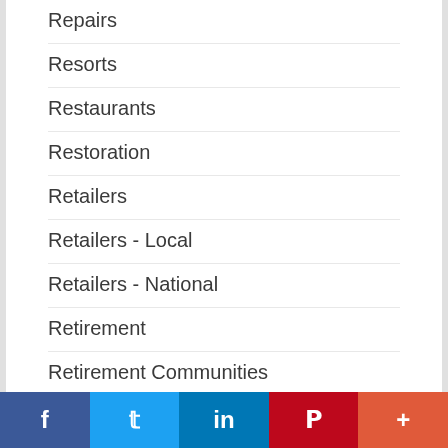Repairs
Resorts
Restaurants
Restoration
Retailers
Retailers - Local
Retailers - National
Retirement
Retirement Communities
Roadside Assistance
Roof Snow Removal
Roofing
RVs
Salons